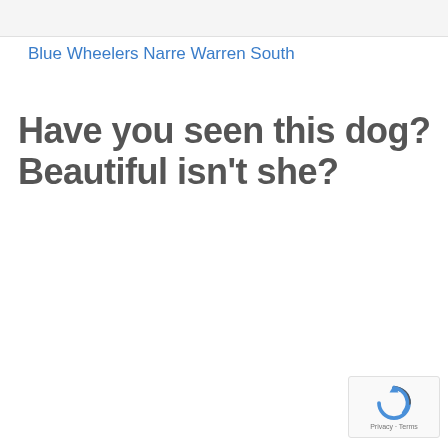Blue Wheelers Narre Warren South
Have you seen this dog? Beautiful isn't she?
[Figure (logo): reCAPTCHA logo with Privacy and Terms text]